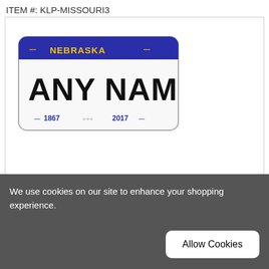ITEM #: KLP-MISSOURI3
[Figure (photo): Nebraska personalized license plate showing 'ANY NAME' in large black bold text, blue header bar with yellow text reading NEBRASKA, bottom text reading 1867 2017 with decorative elements, white plate background with rounded corners]
Personalized Nebraska License Plate for Bicycles, Kid's Bikes, Carts, Cars or Trucks version 3 (KLP-
We use cookies on our site to enhance your shopping experience.
Allow Cookies